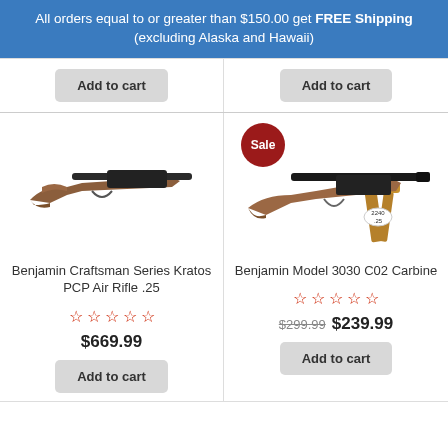All orders equal to or greater than $150.00 get FREE Shipping (excluding Alaska and Hawaii)
[Figure (photo): Add to cart button for previous product (left column)]
[Figure (photo): Add to cart button for previous product (right column)]
[Figure (photo): Benjamin Craftsman Series Kratos PCP Air Rifle .25 - wooden stock air rifle with long barrel]
[Figure (photo): Benjamin Model 3030 C02 Carbine - vintage air rifle on wooden stand, with Sale badge]
Benjamin Craftsman Series Kratos PCP Air Rifle .25
Benjamin Model 3030 C02 Carbine
$669.99
$299.99  $239.99